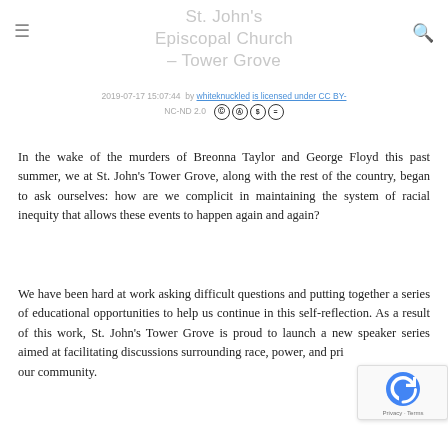St. John's Episcopal Church - Tower Grove
2019-07-17 15:07:44  by whiteknuckled is licensed under CC BY-NC-ND 2.0
In the wake of the murders of Breonna Taylor and George Floyd this past summer, we at St. John's Tower Grove, along with the rest of the country, began to ask ourselves: how are we complicit in maintaining the system of racial inequity that allows these events to happen again and again?
We have been hard at work asking difficult questions and putting together a series of educational opportunities to help us continue in this self-reflection. As a result of this work, St. John's Tower Grove is proud to launch a new speaker series aimed at facilitating discussions surrounding race, power, and pri... our community.